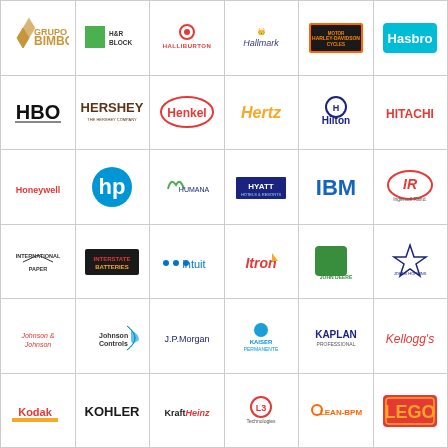[Figure (logo): Grid of company logos: Grupo Bimbo, H&R Block, Halliburton, Hallmark, Harley-Davidson, Hasbro, HBO, Hershey, Henkel, Hertz, Hilton, Hitachi, Honeywell, HP, Humana, Hyatt, IBM, Ingersoll Rand, International Paper, Interstate Batteries, Intuit, Itron, John Deere, Johns Hopkins Medicine, Johnson & Johnson, Johnson Controls, J.P. Morgan, Kaiser Permanente, Kaplan, Kellogg's, Kodak, Kohler, Kraft Heinz, L3 Technologies, Lean-BPM, LEGO]